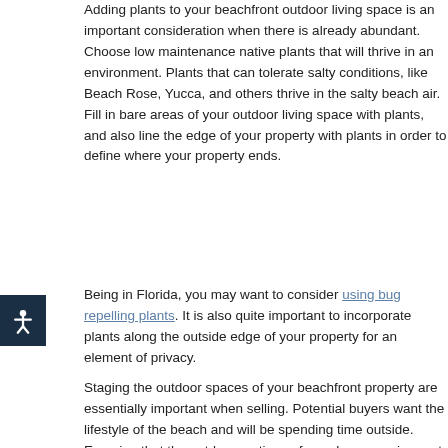Adding plants to your beachfront outdoor living space is an important consideration when there is already abundant. Choose low maintenance native plants that will thrive in an environment. Plants that can tolerate salty conditions, like Beach Rose, Yucca, and others thrive in the salty beach air. Fill in bare areas of your outdoor living space with plants, and also line the edge of your property with plants in order to define where your property ends.
Being in Florida, you may want to consider using bug repelling plants. It is also quite important to incorporate plants along the outside edge of your property for an element of privacy.
Staging the outdoor spaces of your beachfront property are essential when selling. Potential buyers want the lifestyle of the beach and will be spending time outside, so ensuring that the outdoor portions of your home are in great condition will help buyers imagine what they can look forward to after purchasing your home. Consider all of the tips above for your outdoor living space in order to quickly get an offer on your home.